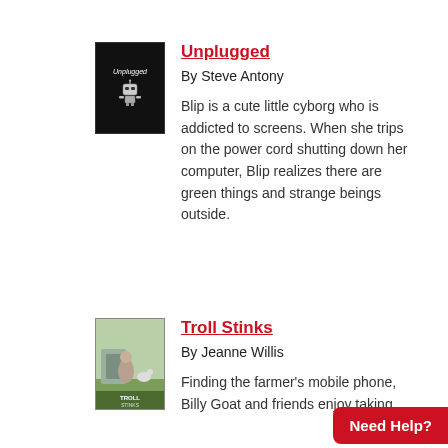[Figure (illustration): Book cover for 'Unplugged' — black background with a cartoon robot and stylized title text]
Unplugged
By Steve Antony
Blip is a cute little cyborg who is addicted to screens. When she trips on the power cord shutting down her computer, Blip realizes there are green things and strange beings outside.
[Figure (illustration): Book cover for 'Troll Stinks' — illustrated cover with green and forest tones, featuring trolls and billy goat]
Troll Stinks
By Jeanne Willis
Finding the farmer's mobile phone, Billy Goat and friends enjoy taking